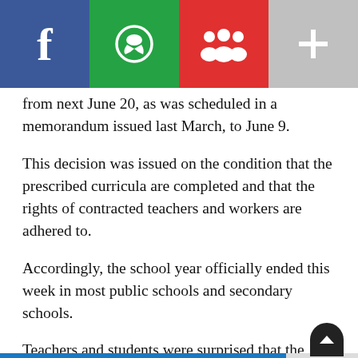[Figure (other): Social media sharing bar with four buttons: Facebook (blue), WhatsApp (green), Friends/MySpace (red), and a plus button (grey)]
from next June 20, as was scheduled in a memorandum issued last March, to June 9.
This decision was issued on the condition that the prescribed curricula are completed and that the rights of contracted teachers and workers are adhered to.
Accordingly, the school year officially ended this week in most public schools and secondary schools.
Teachers and students were surprised that the Minister's condition did not take into account the forced strikes and closures, totaling about 40 days, in addition to delaying the start of the school year until November 2021.